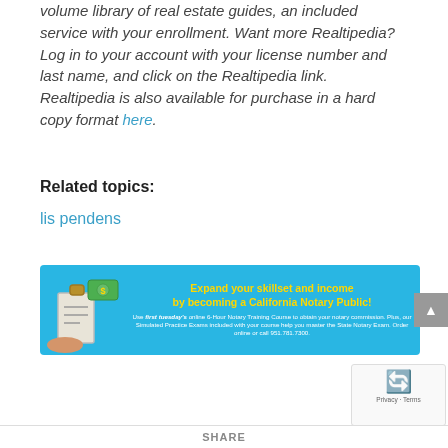volume library of real estate guides, an included service with your enrollment. Want more Realtipedia? Log in to your account with your license number and last name, and click on the Realtipedia link. Realtipedia is also available for purchase in a hard copy format here.
Related topics:
lis pendens
[Figure (illustration): Advertisement banner with cyan background promoting 'Expand your skillset and income by becoming a California Notary Public!' with First Tuesday's online 6-Hour Notary Training Course details and phone number 951.781.7300.]
SHARE